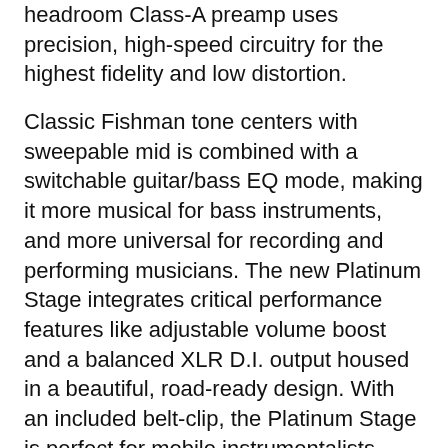headroom Class-A preamp uses precision, high-speed circuitry for the highest fidelity and low distortion.
Classic Fishman tone centers with sweepable mid is combined with a switchable guitar/bass EQ mode, making it more musical for bass instruments, and more universal for recording and performing musicians. The new Platinum Stage integrates critical performance features like adjustable volume boost and a balanced XLR D.I. output housed in a beautiful, road-ready design. With an included belt-clip, the Platinum Stage is perfect for mobile instrumentalists, such as mandolin and fiddle players. It can also be powered via 48-volt phantom power, offering complete control over your sound without batteries.